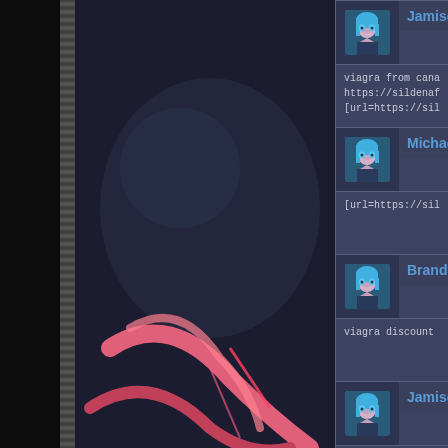[Figure (screenshot): Forum/comment thread screenshot with dark blue-grey theme. Left panel shows anime character with dark background and chain decoration. Right panel shows forum posts.]
Jamisonfug
viagra from canada <a href=" https://sil... https://sildenafilmg.online/# buy viagra [url=https://sildenafilmg.online/#]100mg
MichaelSaf
[url=https://sildenafilmg.shop/#]sildena...
Brandonmiz
viagra discount <a href=" https://silden...
Jamisonfug
viagra from canada <a href=" https://sil... https://sildenafilmg.com/ when will viag [url=https://sildenafilmg.shop/#]best ove